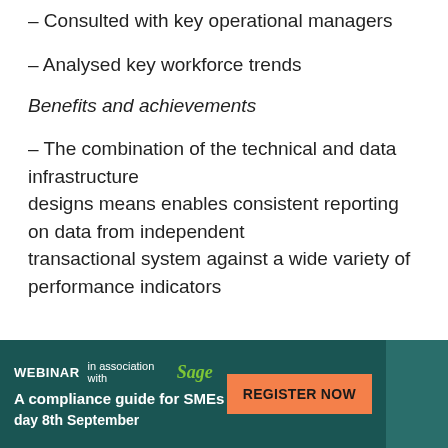– Consulted with key operational managers
– Analysed key workforce trends
Benefits and achievements
– The combination of the technical and data infrastructure designs means enables consistent reporting on data from independent transactional system against a wide variety of performance indicators
[Figure (infographic): WEBINAR in association with Sage banner. Text: A compliance guide for SMEs, day 8th September. Orange REGISTER NOW button. Photo of a person on the right.]